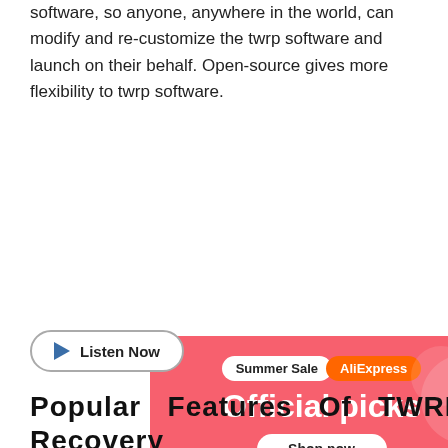software, so anyone, anywhere in the world, can modify and re-customize the twrp software and launch on their behalf. Open-source gives more flexibility to twrp software.
[Figure (illustration): AliExpress Summer Sale advertisement banner with pink background showing 'Summer Sale AliExpress' badge, 'Official picks' heading, 'Shop now' button, and product images including a robot vacuum and gaming console. A 'Listen Now' button with play icon overlaps the lower-left of the banner.]
Popular Features Of TWRP Recovery